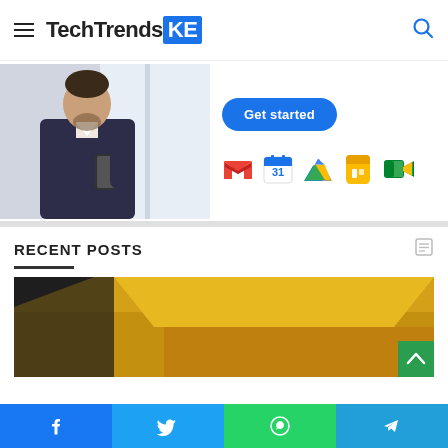TechTrendsKE
[Figure (photo): Advertisement banner: left side shows a professional man in a suit looking at his phone; right side shows a blue 'Get started' button and a row of Google Workspace app icons (Gmail, Calendar, Drive, Keep, Meet)]
RECENT POSTS
[Figure (photo): Partial image of a yellow surface, possibly a vehicle or structure, dark background, with a green scroll-to-top button in bottom-right corner]
Social share bar: Facebook, Twitter, WhatsApp, Telegram